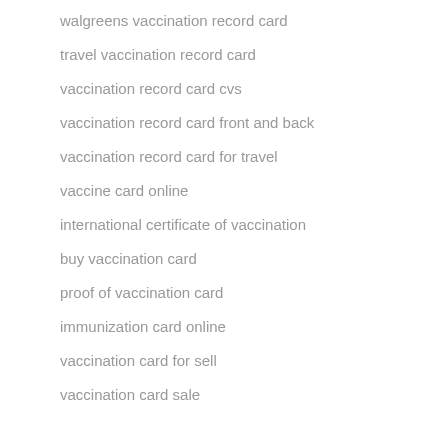walgreens vaccination record card
travel vaccination record card
vaccination record card cvs
vaccination record card front and back
vaccination record card for travel
vaccine card online
international certificate of vaccination
buy vaccination card
proof of vaccination card
immunization card online
vaccination card for sell
vaccination card sale